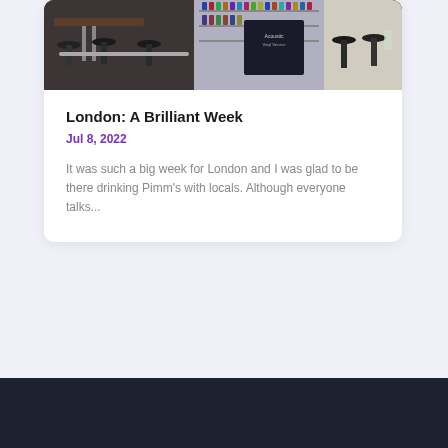[Figure (photo): Photo of a bar or cafe interior showing high bar stools, wooden table tops, and shelving with bottles in the background. Dark industrial style space.]
London: A Brilliant Week
Jul 8, 2022
It was such a big week for London and I was glad to be there drinking Pimm's with locals. Although everyone talks...